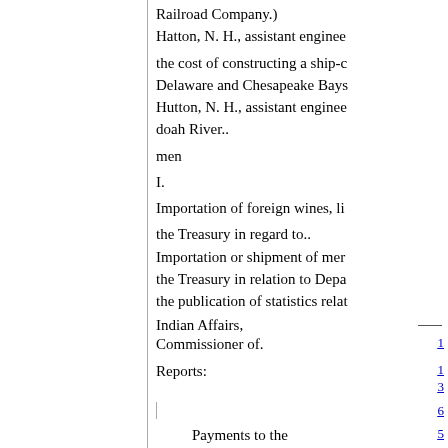Railroad Company.)
Hatton, N. H., assistant enginee
the cost of constructing a ship-c
Delaware and Chesapeake Bays
Hutton, N. H., assistant enginee
doah River..
men
I.
Importation of foreign wines, li
the Treasury in regard to..
Importation or shipment of mer
the Treasury in relation to Depa
the publication of statistics relat
Indian Affairs,
Commissioner of.
Reports:
Payments to the Ute Indians ..
In relation to the number of mining camps located on